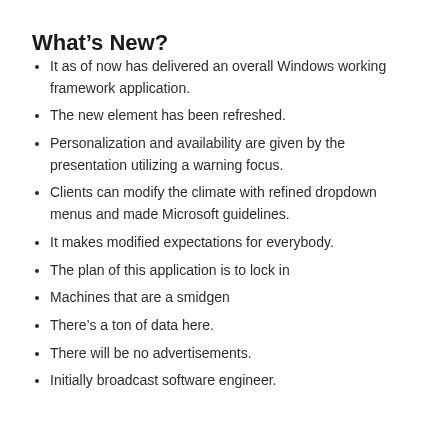What’s New?
It as of now has delivered an overall Windows working framework application.
The new element has been refreshed.
Personalization and availability are given by the presentation utilizing a warning focus.
Clients can modify the climate with refined dropdown menus and made Microsoft guidelines.
It makes modified expectations for everybody.
The plan of this application is to lock in
Machines that are a smidgen
There’s a ton of data here.
There will be no advertisements.
Initially broadcast software engineer.